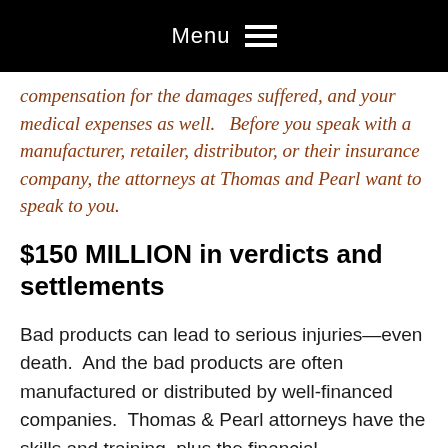Menu
compensation for the damages suffered, and your medical expenses as well.  Before you speak with a manufacturer, retailer, distributor, or their insurance company, the attorneys at Thomas and Pearl want to speak to you.
$150 MILLION in verdicts and settlements
Bad products can lead to serious injuries—even death.  And the bad products are often manufactured or distributed by well-financed companies.  Thomas & Pearl attorneys have the skills and training, plus the financial